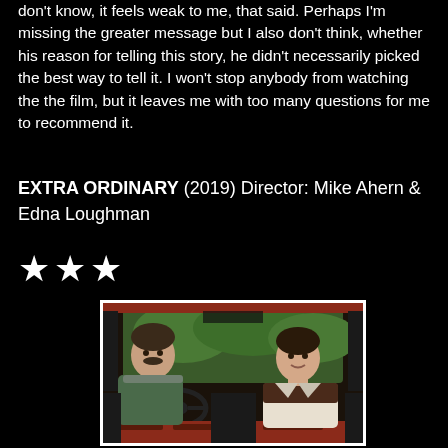don't know, it feels weak to me, that said. Perhaps I'm missing the greater message but I also don't think, whether his reason for telling this story, he didn't necessarily picked the best way to tell it. I won't stop anybody from watching the the film, but it leaves me with too many questions for me to recommend it.
EXTRA ORDINARY (2019) Director: Mike Ahern & Edna Loughman
★★★
[Figure (photo): Two people sitting inside a car — a man with a moustache on the driver side and a woman on the passenger side, both looking ahead, with green foliage visible through the windshield. The car has a red dashboard.]